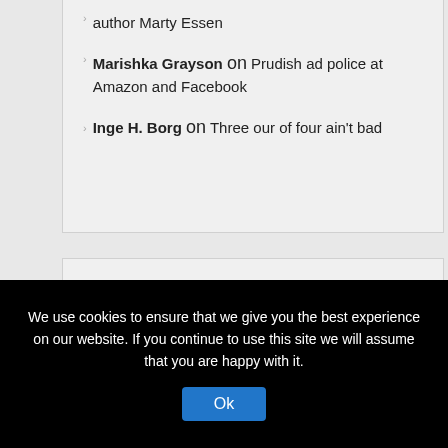author Marty Essen
Marishka Grayson on Prudish ad police at Amazon and Facebook
Inge H. Borg on Three our of four ain't bad
Archives
August 2022
July 2022
June 2022
May 2022
We use cookies to ensure that we give you the best experience on our website. If you continue to use this site we will assume that you are happy with it.